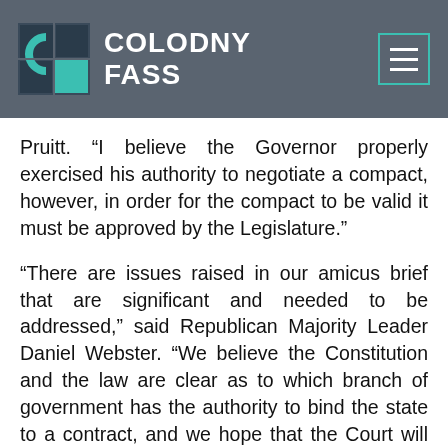Colodny Fass
Pruitt. “I believe the Governor properly exercised his authority to negotiate a compact, however, in order for the compact to be valid it must be approved by the Legislature.”
“There are issues raised in our amicus brief that are significant and needed to be addressed,” said Republican Majority Leader Daniel Webster. “We believe the Constitution and the law are clear as to which branch of government has the authority to bind the state to a contract, and we hope that the Court will agree with our assessment.”